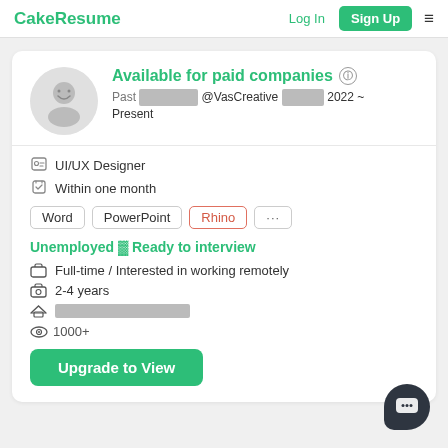CakeResume | Log In | Sign Up
Available for paid companies
Past UIUX▓▓▓ @VasCreative ▓▓▓ ▓ 2022 ~ Present
UI/UX Designer
Within one month
Word
PowerPoint
Rhino
Unemployed ▓ Ready to interview
Full-time / Interested in working remotely
2-4 years
▓▓▓▓▓▓▓▓ ▓ ▓▓▓▓▓
1000+
Upgrade to View